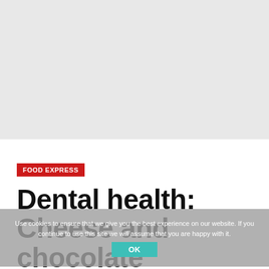[Figure (photo): Gray background area at top of page, empty/blank]
FOOD EXPRESS
Dental health: Cheese and chocolate 'actually help to keep your
Use cookies to ensure that we give you the best experience on our website. If you continue to use this site we will assume that you are happy with it. OK